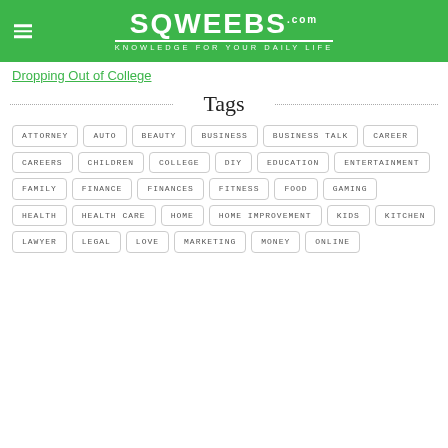SQWEEBS .com — KNOWLEDGE FOR YOUR DAILY LIFE
Dropping Out of College
Tags
ATTORNEY
AUTO
BEAUTY
BUSINESS
BUSINESS TALK
CAREER
CAREERS
CHILDREN
COLLEGE
DIY
EDUCATION
ENTERTAINMENT
FAMILY
FINANCE
FINANCES
FITNESS
FOOD
GAMING
HEALTH
HEALTH CARE
HOME
HOME IMPROVEMENT
KIDS
KITCHEN
LAWYER
LEGAL
LOVE
MARKETING
MONEY
ONLINE